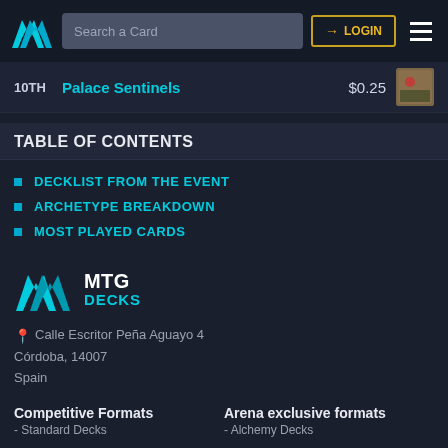MTG Decks - Search a Card - LOGIN
10TH   Palace Sentinels   $0.25
TABLE OF CONTENTS
DECKLIST FROM THE EVENT
ARCHETYPE BREAKDOWN
MOST PLAYED CARDS
[Figure (logo): MTG Decks logo with cyan chevron/M icon and text MTG DECKS]
Calle Escritor Peña Aguayo 4
Córdoba, 14007
Spain
Competitive Formats
- Standard Decks
Arena exclusive formats
- Alchemy Decks